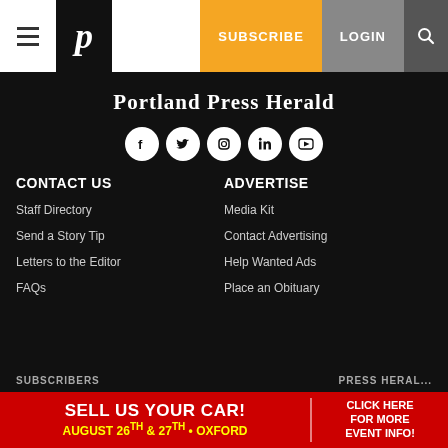Portland Press Herald - Subscribe | Login
[Figure (logo): Portland Press Herald footer logo in old-English blackletter typeface on dark background]
[Figure (infographic): Social media icons: Facebook, Twitter, Instagram, LinkedIn, YouTube - white circles on dark background]
CONTACT US
Staff Directory
Send a Story Tip
Letters to the Editor
FAQs
ADVERTISE
Media Kit
Contact Advertising
Help Wanted Ads
Place an Obituary
[Figure (infographic): Advertisement banner: SELL US YOUR CAR! AUGUST 26TH & 27TH • OXFORD | CLICK HERE FOR MORE EVENT INFO!]